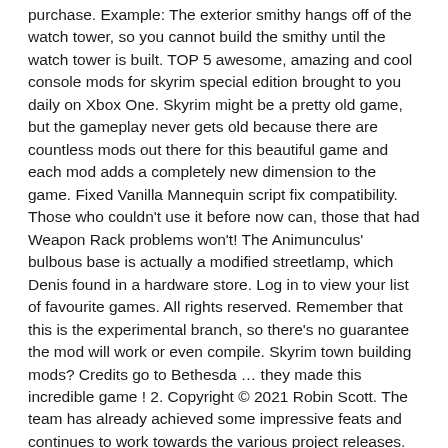purchase. Example: The exterior smithy hangs off of the watch tower, so you cannot build the smithy until the watch tower is built. TOP 5 awesome, amazing and cool console mods for skyrim special edition brought to you daily on Xbox One. Skyrim might be a pretty old game, but the gameplay never gets old because there are countless mods out there for this beautiful game and each mod adds a completely new dimension to the game. Fixed Vanilla Mannequin script fix compatibility. Those who couldn't use it before now can, those that had Weapon Rack problems won't! The Animunculus' bulbous base is actually a modified streetlamp, which Denis found in a hardware store. Log in to view your list of favourite games. All rights reserved. Remember that this is the experimental branch, so there's no guarantee the mod will work or even compile. Skyrim town building mods? Credits go to Bethesda … they made this incredible game ! 2. Copyright © 2021 Robin Scott. The team has already achieved some impressive feats and continues to work towards the various project releases. At … NPCs will not know things were placed